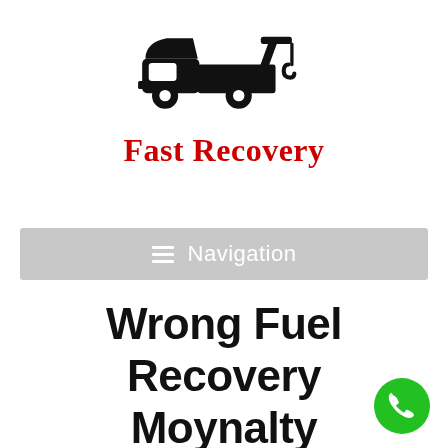[Figure (logo): Black silhouette of a tow truck facing right with crane hook]
Fast Recovery
[Figure (screenshot): Navigation menu bar with hamburger icon and text 'Navigation' on grey background]
Wrong Fuel Recovery Moynalty
[Figure (illustration): Green circle phone call button icon in bottom right corner]